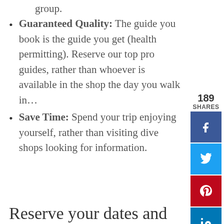group.
Guaranteed Quality: The guide you book is the guide you get (health permitting). Reserve our top pro guides, rather than whoever is available in the shop the day you walk in…
Save Time: Spend your trip enjoying yourself, rather than visiting dive shops looking for information.
Reserve your dates and